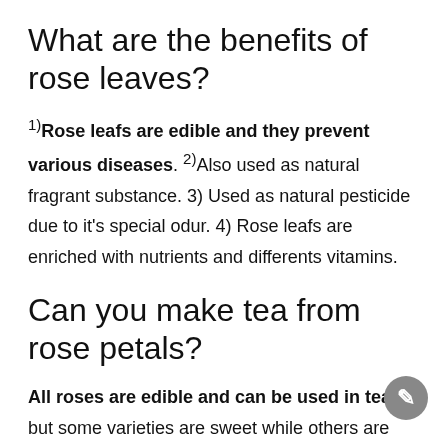What are the benefits of rose leaves?
1) Rose leafs are edible and they prevent various diseases. 2) Also used as natural fragrant substance. 3) Used as natural pesticide due to it's special odur. 4) Rose leafs are enriched with nutrients and differents vitamins.
Can you make tea from rose petals?
All roses are edible and can be used in tea, but some varieties are sweet while others are more bitter (1). Rose tea is an aromatic herbal beverage made from the fragrant petals and buds of rose flowers. It's claimed to offer numerous health